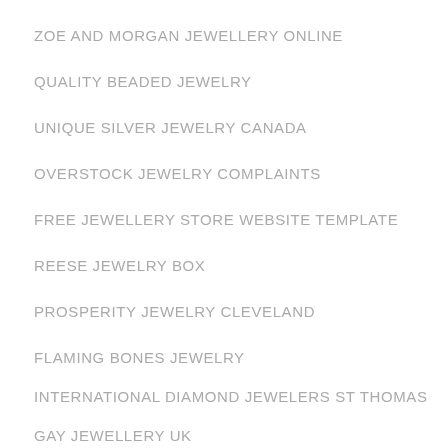ZOE AND MORGAN JEWELLERY ONLINE
QUALITY BEADED JEWELRY
UNIQUE SILVER JEWELRY CANADA
OVERSTOCK JEWELRY COMPLAINTS
FREE JEWELLERY STORE WEBSITE TEMPLATE
REESE JEWELRY BOX
PROSPERITY JEWELRY CLEVELAND
FLAMING BONES JEWELRY
INTERNATIONAL DIAMOND JEWELERS ST THOMAS
GAY JEWELLERY UK